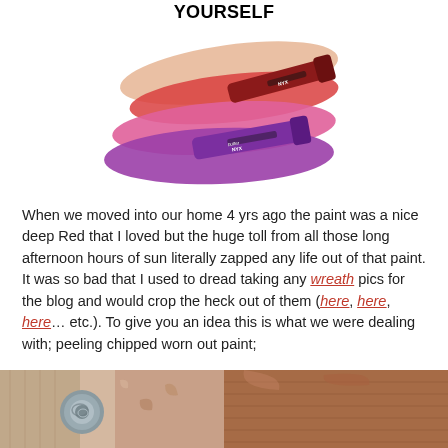YOURSELF
[Figure (photo): NYX butter gloss lipstick tubes with colorful swatches in pink, peach, red, and purple]
When we moved into our home 4 yrs ago the paint was a nice deep Red that I loved but the huge toll from all those long afternoon hours of sun literally zapped any life out of that paint. It was so bad that I used to dread taking any wreath pics for the blog and would crop the heck out of them (here, here, here… etc.).  To give you an idea this is what we were dealing with; peeling chipped worn out paint;
[Figure (photo): Two side-by-side photos showing worn painted surfaces — left shows a door handle/knob area with peeling paint, right shows wood grain texture with reddish-brown worn paint]